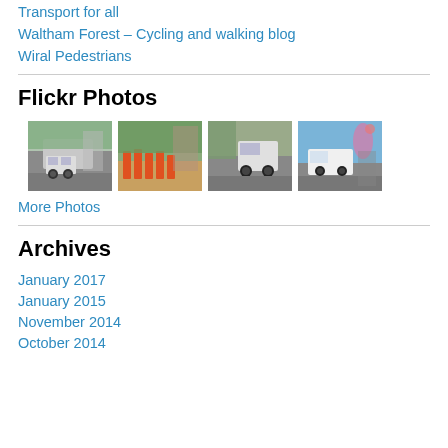Transport for all
Waltham Forest – Cycling and walking blog
Wiral Pedestrians
Flickr Photos
[Figure (photo): Four thumbnail street/road photos showing cars, construction, and street scenes]
More Photos
Archives
January 2017
January 2015
November 2014
October 2014